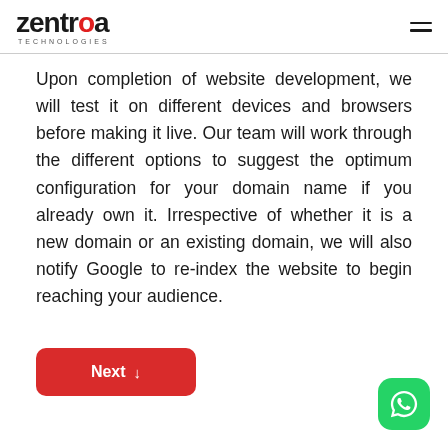zentroa TECHNOLOGIES
Upon completion of website development, we will test it on different devices and browsers before making it live. Our team will work through the different options to suggest the optimum configuration for your domain name if you already own it. Irrespective of whether it is a new domain or an existing domain, we will also notify Google to re-index the website to begin reaching your audience.
Next ↓